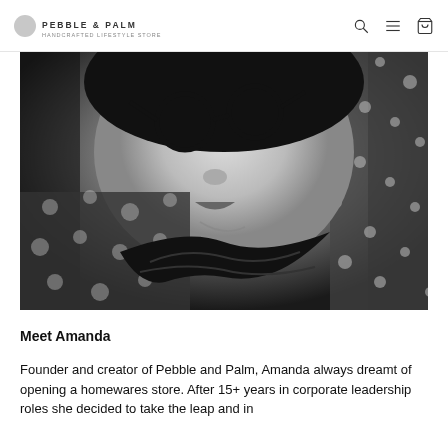PEBBLE & PALM
[Figure (photo): Black and white close-up photo of a woman with large round glasses, wearing a polka dot top and ruffled black collar, smiling slightly.]
Meet Amanda
Founder and creator of Pebble and Palm, Amanda always dreamt of opening a homewares store. After 15+ years in corporate leadership roles she decided to take the leap and in